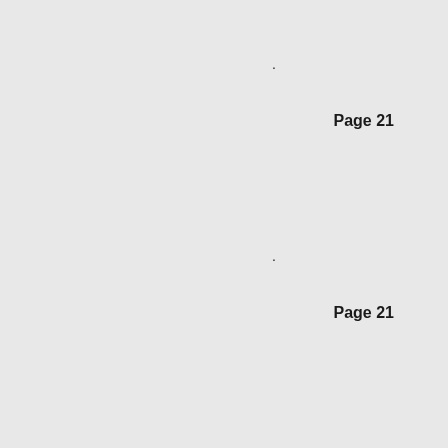.
Page 21
.
Page 21
.
Page 22
.
Page 10
.
Page 5
.